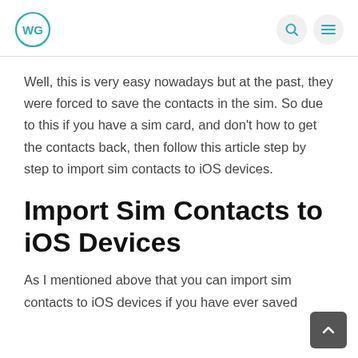WG logo with search and menu icons
Well, this is very easy nowadays but at the past, they were forced to save the contacts in the sim. So due to this if you have a sim card, and don't how to get the contacts back, then follow this article step by step to import sim contacts to iOS devices.
Import Sim Contacts to iOS Devices
As I mentioned above that you can import sim contacts to iOS devices if you have ever saved